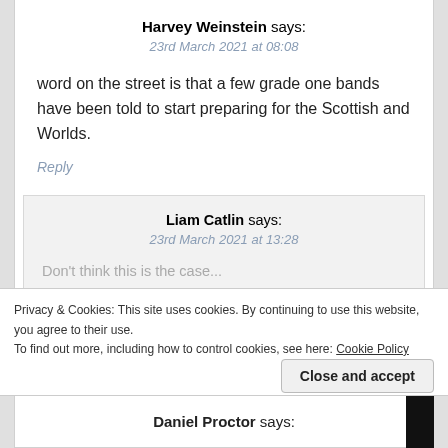Harvey Weinstein says:
23rd March 2021 at 08:08
word on the street is that a few grade one bands have been told to start preparing for the Scottish and Worlds.
Reply
Liam Catlin says:
23rd March 2021 at 13:28
Don't think this is the case...
Privacy & Cookies: This site uses cookies. By continuing to use this website, you agree to their use.
To find out more, including how to control cookies, see here: Cookie Policy
Close and accept
Daniel Proctor says: